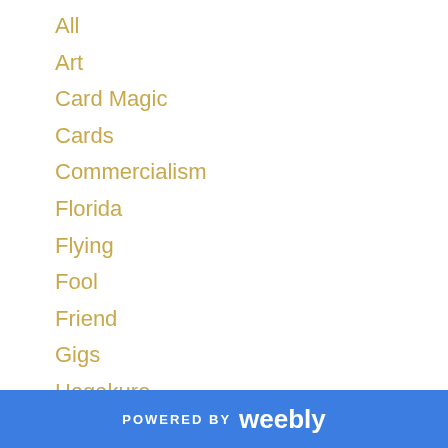All
Art
Card Magic
Cards
Commercialism
Florida
Flying
Fool
Friend
Gigs
Hagakure
Hecklers
House
Jadu
Jam
Life
POWERED BY weebly